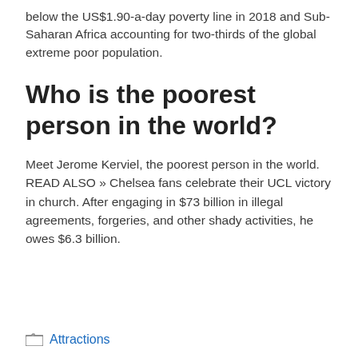below the US$1.90-a-day poverty line in 2018 and Sub-Saharan Africa accounting for two-thirds of the global extreme poor population.
Who is the poorest person in the world?
Meet Jerome Kerviel, the poorest person in the world. READ ALSO » Chelsea fans celebrate their UCL victory in church. After engaging in $73 billion in illegal agreements, forgeries, and other shady activities, he owes $6.3 billion.
Attractions